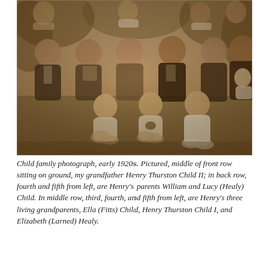[Figure (photo): Sepia-toned family group photograph from the early 1920s. Multiple adults seated and standing in rows outdoors on grass, with three young children sitting on the ground in the front row.]
Child family photograph, early 1920s. Pictured, middle of front row sitting on ground, my grandfather Henry Thurston Child II; in back row, fourth and fifth from left, are Henry's parents William and Lucy (Healy) Child. In middle row, third, fourth, and fifth from left, are Henry's three living grandparents, Ella (Fitts) Child, Henry Thurston Child I, and Elizabeth (Larned) Healy.